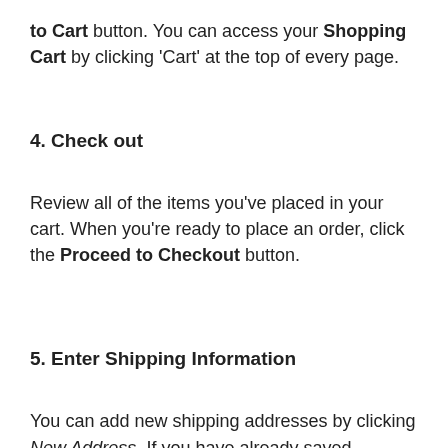to Cart button. You can access your Shopping Cart by clicking 'Cart' at the top of every page.
4. Check out
Review all of the items you've placed in your cart. When you're ready to place an order, click the Proceed to Checkout button.
5. Enter Shipping Information
You can add new shipping addresses by clicking New Address. If you have already saved shipping addresses in My Account, select one to continue checkout.